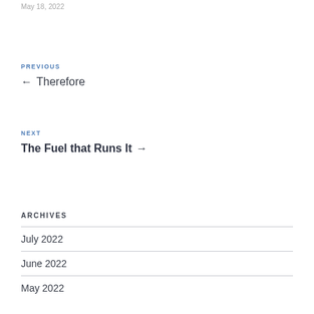May 18, 2022
PREVIOUS
← Therefore
NEXT
The Fuel that Runs It →
ARCHIVES
July 2022
June 2022
May 2022